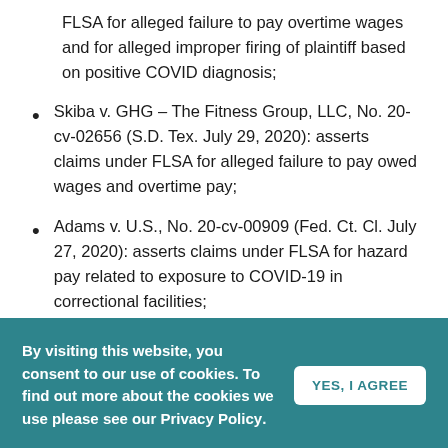FLSA for alleged failure to pay overtime wages and for alleged improper firing of plaintiff based on positive COVID diagnosis;
Skiba v. GHG – The Fitness Group, LLC, No. 20-cv-02656 (S.D. Tex. July 29, 2020): asserts claims under FLSA for alleged failure to pay owed wages and overtime pay;
Adams v. U.S., No. 20-cv-00909 (Fed. Ct. Cl. July 27, 2020): asserts claims under FLSA for hazard pay related to exposure to COVID-19 in correctional facilities;
Does v. Scalia, No. 20-cv-01260 (M.D. Pa. July 22, 2020): asserts claims under Occupational Safety and Health Act and seeks to compel OSHA to protect workers; and involves claims on behalf of the Motion Picture Industry Health Plan, No. 20-cv-063... 16, 2020): asserts claims under ERISA for alleged
By visiting this website, you consent to our use of cookies. To find out more about the cookies we use please see our Privacy Policy.